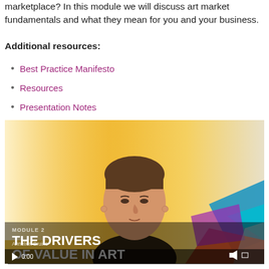marketplace? In this module we will discuss art market fundamentals and what they mean for you and your business.
Additional resources:
Best Practice Manifesto
Resources
Presentation Notes
[Figure (screenshot): Video thumbnail showing a woman presenter with text overlay 'MODULE 2 THE DRIVERS OF VALUE IN ART', playback time 0:00, speaker name Annelien Bruins, with colorful geometric shapes in bottom right corner.]